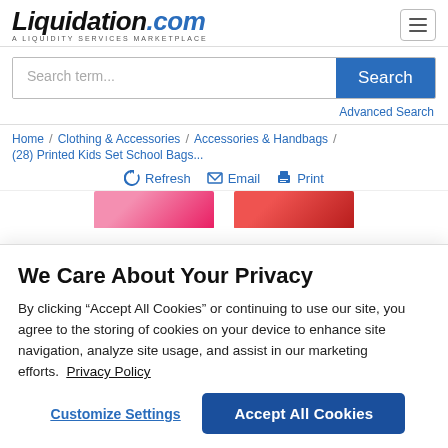Liquidation.com — A LIQUIDITY SERVICES MARKETPLACE
Search term...
Search
Advanced Search
Home / Clothing & Accessories / Accessories & Handbags / (28) Printed Kids Set School Bags...
Refresh   Email   Print
[Figure (photo): Partial view of pink printed kids school bags product listing]
We Care About Your Privacy
By clicking “Accept All Cookies” or continuing to use our site, you agree to the storing of cookies on your device to enhance site navigation, analyze site usage, and assist in our marketing efforts.   Privacy Policy
Customize Settings
Accept All Cookies